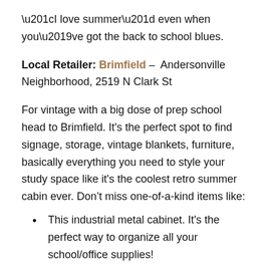“I love summer” even when you’ve got the back to school blues.
Local Retailer: Brimfield – Andersonville Neighborhood, 2519 N Clark St
For vintage with a big dose of prep school head to Brimfield. It’s the perfect spot to find signage, storage, vintage blankets, furniture, basically everything you need to style your study space like it’s the coolest retro summer cabin ever. Don’t miss one-of-a-kind items like:
This industrial metal cabinet. It’s the perfect way to organize all your school/office supplies!